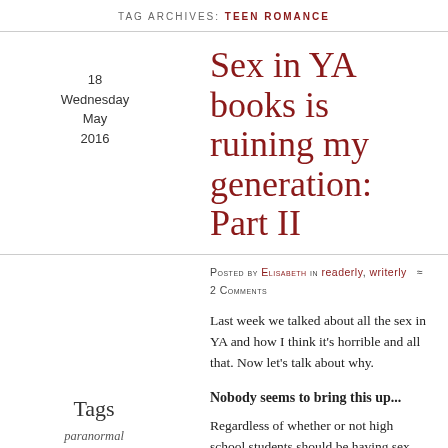Tag Archives: Teen Romance
Sex in YA books is ruining my generation: Part II
Posted by Elisabeth in readerly, writerly  ≈ 2 Comments
Last week we talked about all the sex in YA and how I think it's horrible and all that. Now let's talk about why.
Nobody seems to bring this up...
Tags
paranormal romance, sex, teen romance, writing, ya, young adult
Regardless of whether or not high school students should be having sex, whether or not people should embrace/explore their sexuality or what have you, no Young Adult book I've read accurately portrays how...